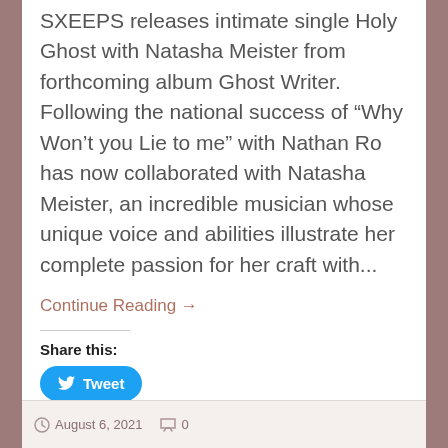SXEEPS releases intimate single Holy Ghost with Natasha Meister from forthcoming album Ghost Writer. Following the national success of “Why Won’t you Lie to me” with Nathan Ro has now collaborated with Natasha Meister, an incredible musician whose unique voice and abilities illustrate her complete passion for her craft with...
Continue Reading →
Share this:
Tweet
Like this:
Like
Be the first to like this.
August 6, 2021   0